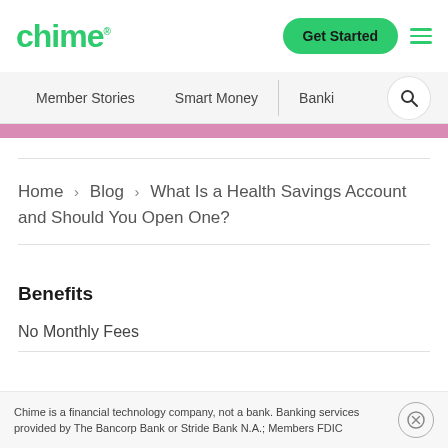chime® — Get Started
Member Stories · Smart Money · Banki
Home › Blog › What Is a Health Savings Account and Should You Open One?
Benefits
No Monthly Fees
Chime is a financial technology company, not a bank. Banking services provided by The Bancorp Bank or Stride Bank N.A.; Members FDIC